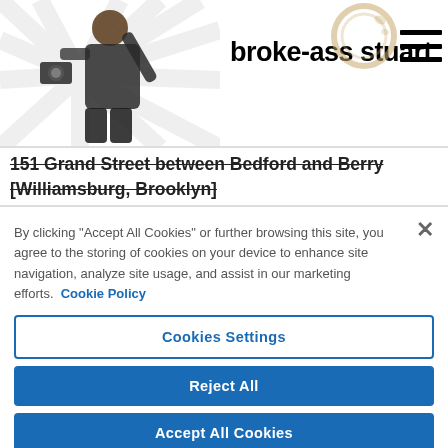broke-ass stuart
151 Grand Street between Bedford and Berry [Williamsburg, Brooklyn]
[Figure (screenshot): Pink/magenta gradient bar partially visible behind cookie consent overlay]
By clicking "Accept All Cookies" or further browsing this site, you agree to the storing of cookies on your device to enhance site navigation, analyze site usage, and assist in our marketing efforts. Cookie Policy
Cookies Settings
Reject All
Accept All Cookies